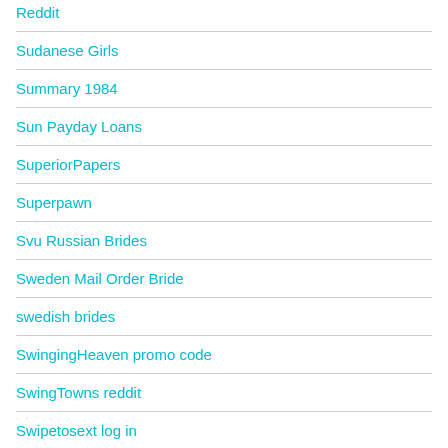Reddit
Sudanese Girls
Summary 1984
Sun Payday Loans
SuperiorPapers
Superpawn
Svu Russian Brides
Sweden Mail Order Bride
swedish brides
SwingingHeaven promo code
SwingTowns reddit
Swipetosext log in
Syrian Dating